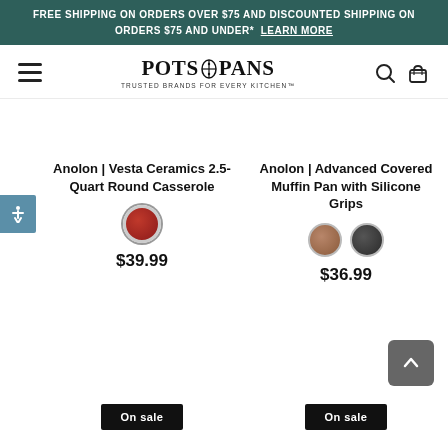FREE SHIPPING ON ORDERS OVER $75 AND DISCOUNTED SHIPPING ON ORDERS $75 AND UNDER*  LEARN MORE
[Figure (logo): Pots & Pans logo with hamburger menu, search and cart icons]
Anolon | Vesta Ceramics 2.5-Quart Round Casserole
$39.99
Anolon | Advanced Covered Muffin Pan with Silicone Grips
$36.99
On sale
On sale